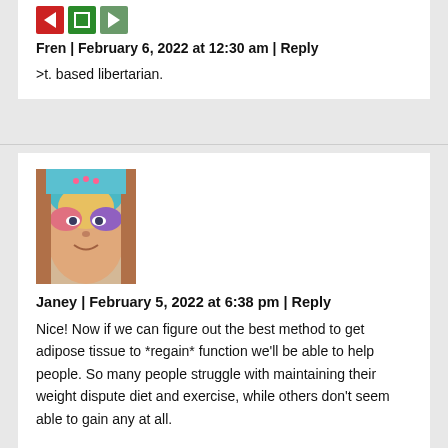[Figure (logo): Three small icon buttons: a red left-arrow icon, a green square icon, and a green/grey right-arrow icon]
Fren | February 6, 2022 at 12:30 am | Reply
>t. based libertarian.
[Figure (photo): Profile avatar photo of a person with colorful face paint in teal, pink, yellow and orange tones]
Janey | February 5, 2022 at 6:38 pm | Reply
Nice! Now if we can figure out the best method to get adipose tissue to *regain* function we'll be able to help people. So many people struggle with maintaining their weight dispute diet and exercise, while others don't seem able to gain any at all.